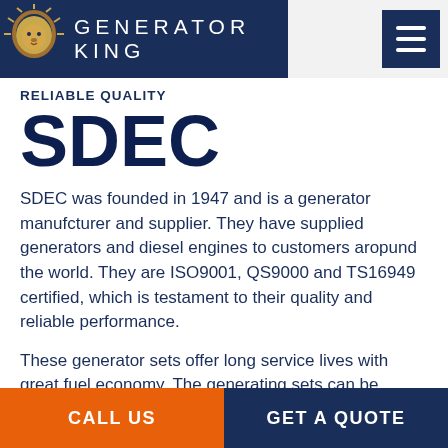[Figure (logo): Generator King logo with lion emblem on dark navy background, white text 'GENERATOR KING' in spaced uppercase letters]
RELIABLE QUALITY
SDEC
SDEC was founded in 1947 and is a generator manufcturer and supplier. They have supplied generators and diesel engines to customers aropund the world. They are ISO9001, QS9000 and TS16949 certified, which is testament to their quality and reliable performance.
These generator sets offer long service lives with great fuel economy. The generating sets can be started by simply pouring oil and coolant into the
CALL US    GET A QUOTE